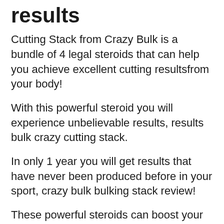results
Cutting Stack from Crazy Bulk is a bundle of 4 legal steroids that can help you achieve excellent cutting resultsfrom your body!
With this powerful steroid you will experience unbelievable results, results bulk crazy cutting stack.
In only 1 year you will get results that have never been produced before in your sport, crazy bulk bulking stack review!
These powerful steroids can boost your athletic performance, increase size, and build muscle without getting you into trouble.
Crazy Bulk can make your body be more powerful and more durable, crazy bulk